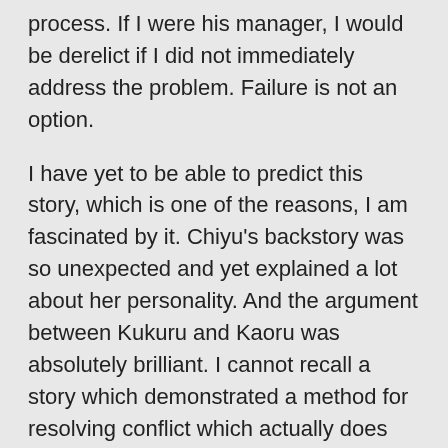process. If I were his manager, I would be derelict if I did not immediately address the problem. Failure is not an option.
I have yet to be able to predict this story, which is one of the reasons, I am fascinated by it. Chiyu's backstory was so unexpected and yet explained a lot about her personality. And the argument between Kukuru and Kaoru was absolutely brilliant. I cannot recall a story which demonstrated a method for resolving conflict which actually does take place when teams are well built and correctly intensional